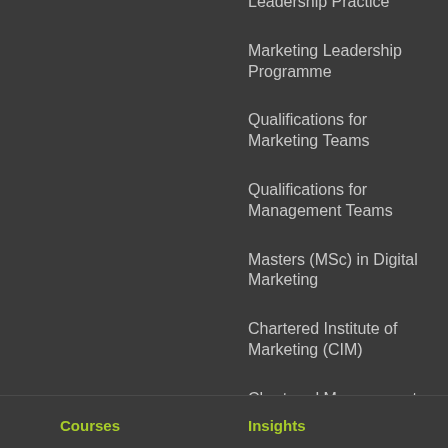Leadership Practice
Marketing Leadership Programme
Qualifications for Marketing Teams
Qualifications for Management Teams
Masters (MSc) in Digital Marketing
Chartered Institute of Marketing (CIM)
Chartered Management Institute (CMI)
Courses    Insights